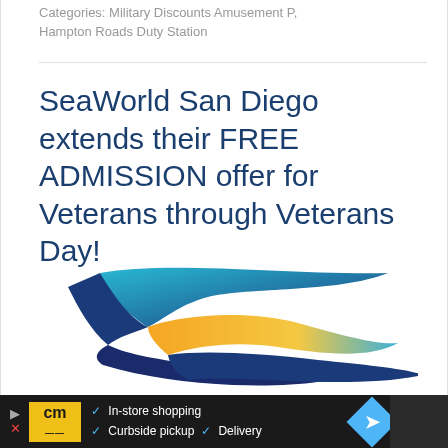Categories: Military Discounts Amusement P, Hampton Roads Duty Station
SeaWorld San Diego extends their FREE ADMISSION offer for Veterans through Veterans Day!
[Figure (logo): SeaWorld logo — stylized wave/dolphin shapes in blue, teal, and yellow/orange gradient]
In-store shopping  Curbside pickup  Delivery